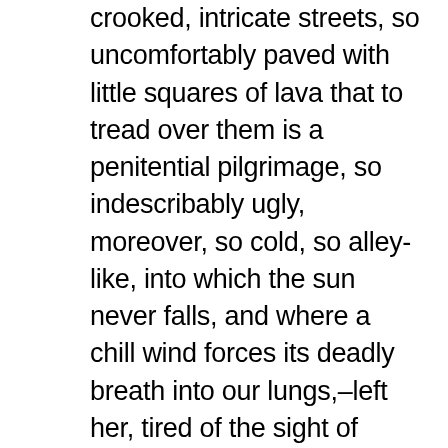crooked, intricate streets, so uncomfortably paved with little squares of lava that to tread over them is a penitential pilgrimage, so indescribably ugly, moreover, so cold, so alley-like, into which the sun never falls, and where a chill wind forces its deadly breath into our lungs,–left her, tired of the sight of those immense seven-storied, yellow-washed hovels, or call them palaces, where all that is dreary in domestic life seems magnified and multiplied, and weary of climbing those staircases, which ascend from a ground-floor of cook shops, cobblers' stalls, stables, and regiments of cavalry, to a middle region of princes, cardinals and ambassadors, and an upper tier of artists, just beneath the unattainable